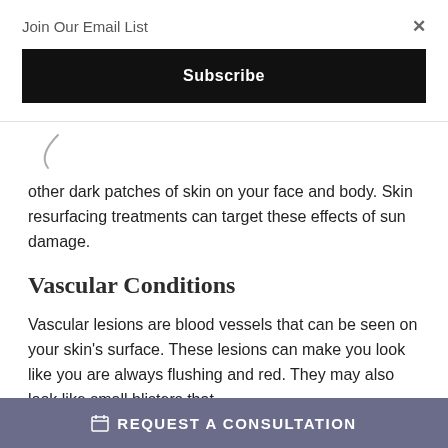Join Our Email List
Subscribe
[Figure (other): Decorative curved line graphic]
other dark patches of skin on your face and body. Skin resurfacing treatments can target these effects of sun damage.
Vascular Conditions
Vascular lesions are blood vessels that can be seen on your skin's surface. These lesions can make you look like you are always flushing and red. They may also look like small blisters that
REQUEST A CONSULTATION